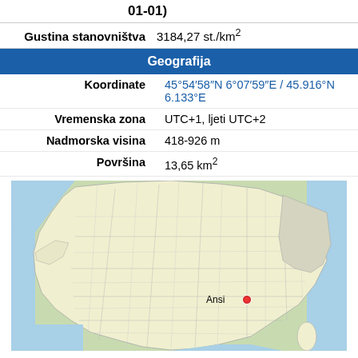01-01)
Gustina stanovništva  3184,27 st./km²
Geografija
| Field | Value |
| --- | --- |
| Koordinate | 45°54′58″N 6°07′59″E / 45.916°N 6.133°E |
| Vremenska zona | UTC+1, ljeti UTC+2 |
| Nadmorska visina | 418-926 m |
| Površina | 13,65 km² |
[Figure (map): Map of France showing location of Ansi (Annecy) marked with a red dot in southeastern France near the border with Switzerland and Italy.]